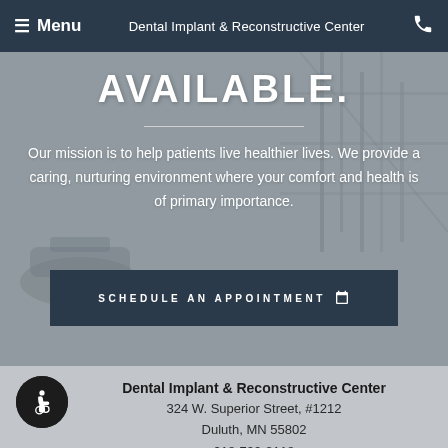≡ Menu   Dental Implant & Reconstructive Center   ☎
AVAILABLE.
Our mission is to help patients live healthier lives. We provide a caring, nurturing environment where your comfort and health is of primary importance.
SCHEDULE AN APPOINTMENT
Dental Implant & Reconstructive Center
324 W. Superior Street, #1212
Duluth, MN 55802
218-722-8118